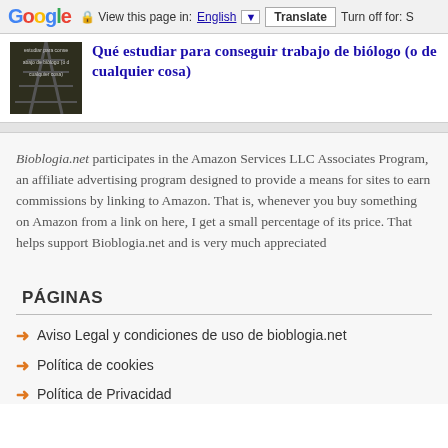Google  View this page in: English  Translate  Turn off for: S
[Figure (photo): Thumbnail image showing railroad tracks with text overlay reading 'estudiar para conseguir trabajo de biólogo (o de cualquier cosa)']
Qué estudiar para conseguir trabajo de biólogo (o de cualquier cosa)
Bioblogia.net participates in the Amazon Services LLC Associates Program, an affiliate advertising program designed to provide a means for sites to earn commissions by linking to Amazon. That is, whenever you buy something on Amazon from a link on here, I get a small percentage of its price. That helps support Bioblogia.net and is very much appreciated
PÁGINAS
Aviso Legal y condiciones de uso de bioblogia.net
Política de cookies
Política de Privacidad